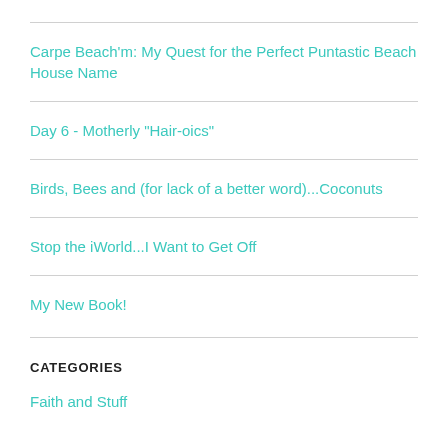Carpe Beach'm: My Quest for the Perfect Puntastic Beach House Name
Day 6 - Motherly "Hair-oics"
Birds, Bees and (for lack of a better word)...Coconuts
Stop the iWorld...I Want to Get Off
My New Book!
CATEGORIES
Faith and Stuff